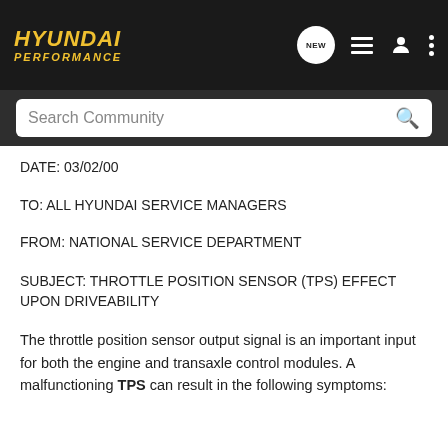[Figure (logo): Hyundai Performance logo in gold italic text on dark background, with navigation icons (NEW chat bubble, list icon, person icon, three dots menu)]
[Figure (screenshot): Search Community search bar with magnifying glass icon on dark grey background]
DATE: 03/02/00
TO: ALL HYUNDAI SERVICE MANAGERS
FROM: NATIONAL SERVICE DEPARTMENT
SUBJECT: THROTTLE POSITION SENSOR (TPS) EFFECT UPON DRIVEABILITY
The throttle position sensor output signal is an important input for both the engine and transaxle control modules. A malfunctioning TPS can result in the following symptoms: